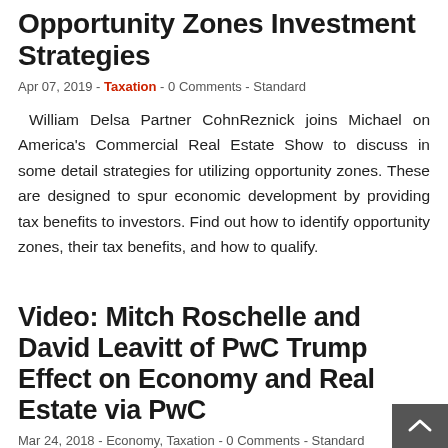Opportunity Zones Investment Strategies
Apr 07, 2019 - Taxation - 0 Comments - Standard
William Delsa Partner CohnReznick joins Michael on America's Commercial Real Estate Show to discuss in some detail strategies for utilizing opportunity zones. These are designed to spur economic development by providing tax benefits to investors. Find out how to identify opportunity zones, their tax benefits, and how to qualify.
Video: Mitch Roschelle and David Leavitt of PwC Trump Effect on Economy and Real Estate via PwC
Mar 24, 2018 - Economy, Taxation - 0 Comments - Standard
Mitch Roschelle and David Leavitt with global